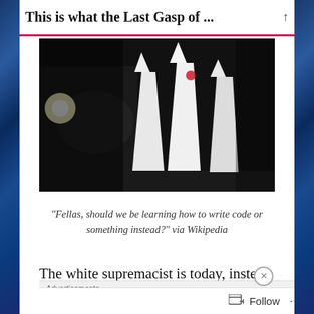This is what the Last Gasp of ...
[Figure (photo): Black and white photograph of figures in white KKK robes and hoods standing together at night, with a light source visible on the left side]
“Fellas, should we be learning how to write code or something instead?” via Wikipedia
The white supremacist is today, instead of
[Figure (screenshot): DuckDuckGo advertisement banner: Search, browse, and email with more privacy. All in One Free App]
Follow